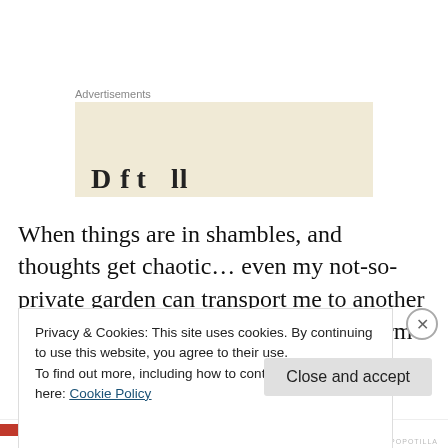Advertisements
[Figure (other): Advertisement placeholder box with beige background and partial bold text visible at bottom]
When things are in shambles, and thoughts get chaotic… even my not-so-private garden can transport me to another place in time. I remember our small farm  where our mother lovingly tended her flowers and vegetables,
Privacy & Cookies: This site uses cookies. By continuing to use this website, you agree to their use.
To find out more, including how to control cookies, see here: Cookie Policy
Close and accept
HIPOPOTILLA